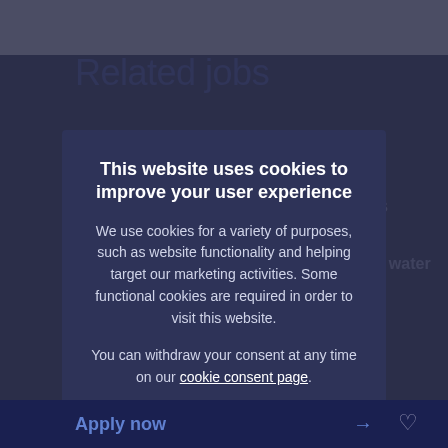Related jobs
7 DAYS AGO
Research Ground and Light Sources
7 DAYS AGO
DUV Function System Engineer Measure water
Veldhoven, Netherlands
Research & development
11 DAYS AGO
Mechatronics...
Veldhoven, Netherlands
Research & development
This website uses cookies to improve your user experience
We use cookies for a variety of purposes, such as website functionality and helping target our marketing activities. Some functional cookies are required in order to visit this website.
You can withdraw your consent at any time on our cookie consent page.
Accept all cookies
Only essential cookies
Manage cookie settings
Apply now →